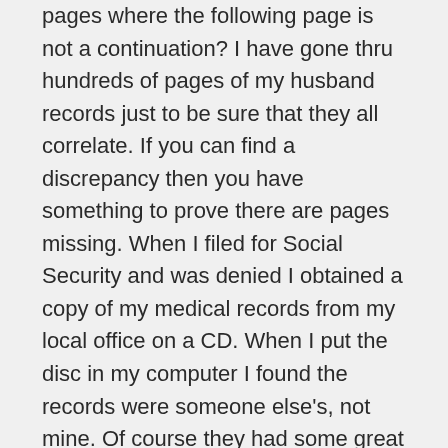pages where the following page is not a continuation? I have gone thru hundreds of pages of my husband records just to be sure that they all correlate. If you can find a discrepancy then you have something to prove there are pages missing. When I filed for Social Security and was denied I obtained a copy of my medical records from my local office on a CD. When I put the disc in my computer I found the records were someone else's, not mine. Of course they had some great excuses for the mistake. When I lost that appeal and it went to the Hearing Officer I requested a copy of my records and it was mailed to me. I guess I'm just lucky, because not only did I get my medical records but the medical